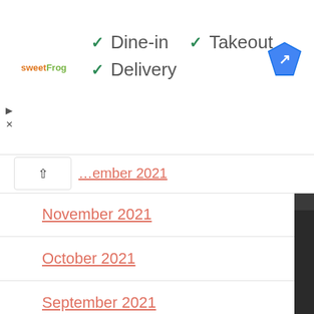[Figure (logo): sweetFrog logo in orange and green text]
✓ Dine-in  ✓ Takeout
✓ Delivery
[Figure (illustration): Google Maps blue navigation arrow icon]
...ember 2021 (partially visible, collapsed section with up caret)
November 2021
October 2021
September 2021
August 2021
July 2021
June 2021
May 2021